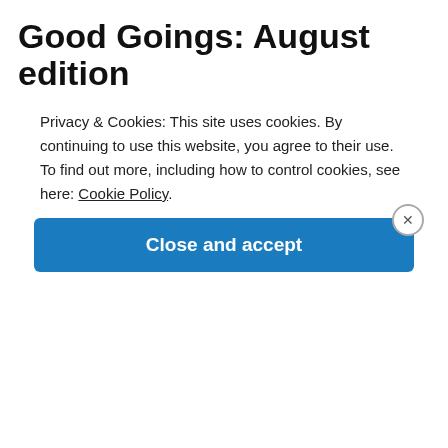Good Goings: August edition
[Figure (photo): Meme image from Toy Story showing Woody and Buzz Lightyear characters with text 'GG.' overlaid in bold white with black outline]
Privacy & Cookies: This site uses cookies. By continuing to use this website, you agree to their use.
To find out more, including how to control cookies, see here: Cookie Policy.
Close and accept